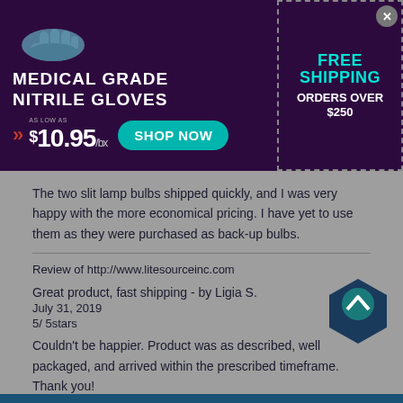[Figure (infographic): Advertisement banner for Medical Grade Nitrile Gloves with dark purple background. Shows a glove illustration, price as low as $10.95/bx, SHOP NOW button, and FREE SHIPPING on orders over $250 in dashed border box.]
The two slit lamp bulbs shipped quickly, and I was very happy with the more economical pricing. I have yet to use them as they were purchased as back-up bulbs.
Review of http://www.litesourceinc.com
Great product, fast shipping - by Ligia S.
July 31, 2019
5/ 5stars
Couldn't be happier. Product was as described, well packaged, and arrived within the prescribed timeframe. Thank you!
Review of http://www.litesourceinc.com